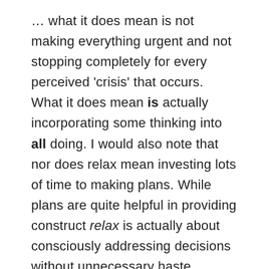… what it does mean is not making everything urgent and not stopping completely for every perceived 'crisis' that occurs. What it does mean is actually incorporating some thinking into all doing. I would also note that nor does relax mean investing lots of time to making plans. While plans are quite helpful in providing construct relax is actually about consciously addressing decisions without unnecessary haste.
Anyway. I think business has this incredibly uncomfortable relationship